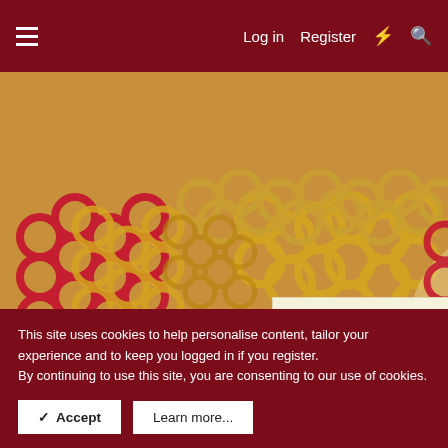Log in | Register
[Figure (photo): Close-up photo of red and gold chainmail rings interlocked in a decorative pattern]
Welcome Guest to Chainmaillers.com.

Please feel free to sign up for an account, look around and use the site. There is no charge to join and there are benefits to being a member.

What more do you want in a site? ;)

Thanks,
The Chainmaillers.com Team
11. In this step you will be decreasing each set of gold rings...
This site uses cookies to help personalise content, tailor your experience and to keep you logged in if you register.
By continuing to use this site, you are consenting to our use of cookies.